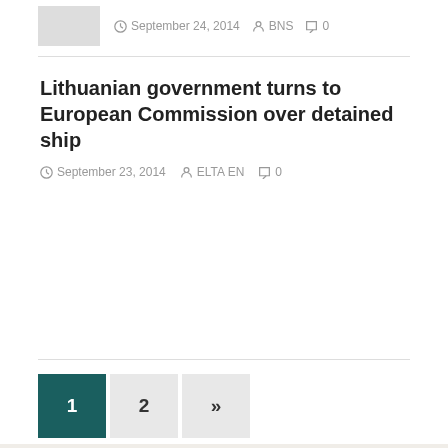September 24, 2014  BNS  0
Lithuanian government turns to European Commission over detained ship
September 23, 2014  ELTA EN  0
1  2  »
Copyright © 2022 | MH Magazine WordPress Theme by MH Th